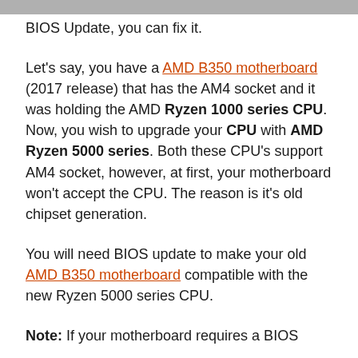BIOS Update, you can fix it.
Let's say, you have a AMD B350 motherboard (2017 release) that has the AM4 socket and it was holding the AMD Ryzen 1000 series CPU. Now, you wish to upgrade your CPU with AMD Ryzen 5000 series. Both these CPU's support AM4 socket, however, at first, your motherboard won't accept the CPU. The reason is it's old chipset generation.
You will need BIOS update to make your old AMD B350 motherboard compatible with the new Ryzen 5000 series CPU.
Note: If your motherboard requires a BIOS